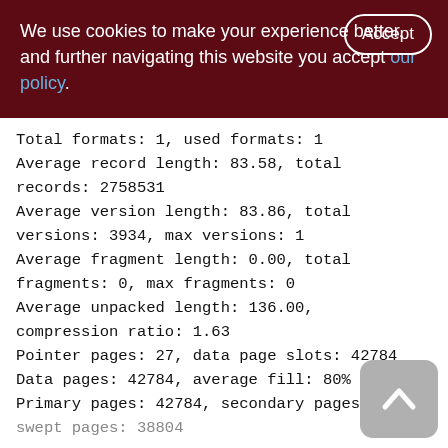We use cookies to make your experience better. By accepting and further navigating this website you accept our policy.
Total formats: 1, used formats: 1
Average record length: 83.58, total records: 2758531
Average version length: 83.86, total versions: 3934, max versions: 1
Average fragment length: 0.00, total fragments: 0, max fragments: 0
Average unpacked length: 136.00, compression ratio: 1.63
Pointer pages: 27, data page slots: 42784
Data pages: 42784, average fill: 80%
Primary pages: 42784, secondary pages: 0, swept pages: 38804